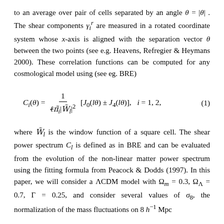to an average over pair of cells separated by an angle θ = |θ|. The shear components γᵢʳ are measured in a rotated coordinate system whose x-axis is aligned with the separation vector θ between the two points (see e.g. Heavens, Refregier & Heymans 2000). These correlation functions can be computed for any cosmological model using (see eg. BRE)
where W̃ₗ is the window function of a square cell. The shear power spectrum Cₗ is defined as in BRE and can be evaluated from the evolution of the non-linear matter power spectrum using the fitting formula from Peacock & Dodds (1997). In this paper, we will consider a ΛCDM model with Ωₘ = 0.3, Ω_Λ = 0.7, Γ = 0.25, and consider several values of σ₈, the normalization of the mass fluctuations on 8 h⁻¹ Mpc